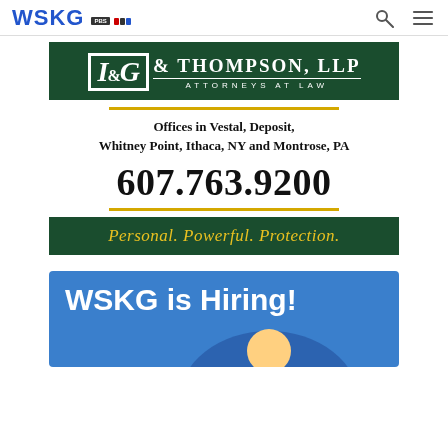WSKG PBS NPR [search icon] [menu icon]
[Figure (logo): Law firm advertisement banner: G&T & Thompson, LLP Attorneys at Law logo on dark green background]
Offices in Vestal, Deposit, Whitney Point, Ithaca, NY and Montrose, PA
607.763.9200
Personal. Powerful. Protection.
[Figure (infographic): WSKG is Hiring! banner with blue background and figure with graduation cap]